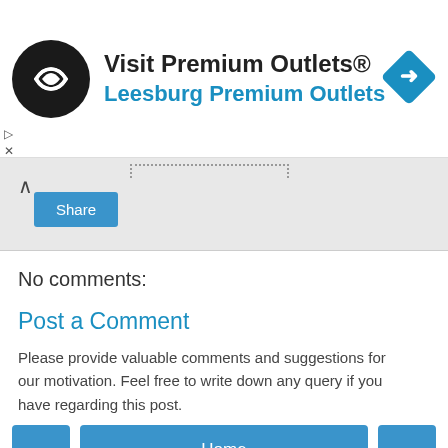[Figure (other): Advertisement banner for Visit Premium Outlets® - Leesburg Premium Outlets with circular black logo with infinity symbol and blue diamond arrow icon on right]
[Figure (screenshot): UI bar with chevron up button, dotted pattern bar, and blue Share button]
No comments:
Post a Comment
Please provide valuable comments and suggestions for our motivation. Feel free to write down any query if you have regarding this post.
[Figure (screenshot): Navigation bar with left arrow button, Home center button, and right arrow button]
View web version
Powered by Blogger.